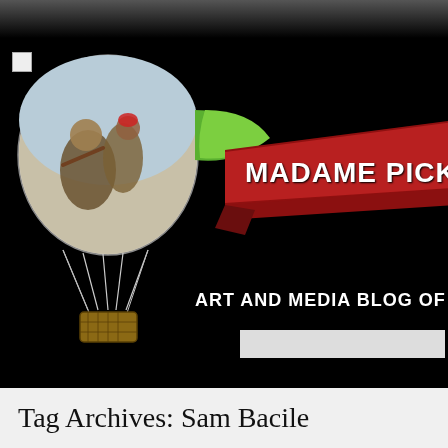[Figure (screenshot): Website header for 'Madame Picky' art and media blog showing a hot air balloon painting, red ribbon banner with site name, navigation bar with HOME, ABOVE THE CLOUDS (TAG CLOUD), BE... links, and a Tag Archives: Sam Bacile section at the bottom.]
MADAME PICKY
ART AND MEDIA BLOG OF
HOME | ABOVE THE CLOUDS (TAG CLOUD) | BE
AB
Tag Archives: Sam Bacile